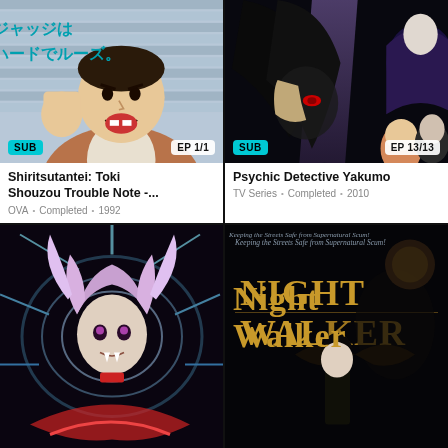[Figure (illustration): Anime cover art for Shiritsutantei: Toki Shouzou Trouble Note - manga-style illustration of an angry man in a brown suit with Japanese text in background]
SUB
EP 1/1
Shiritsutantei: Toki Shouzou Trouble Note -...
OVA • Completed • 1992
[Figure (illustration): Anime cover art for Psychic Detective Yakumo - dark fantasy illustration with a dark-haired character with red eye, mysterious cloaked figure, and two characters in background]
SUB
EP 13/13
Psychic Detective Yakumo
TV Series • Completed • 2010
[Figure (illustration): Anime cover art showing a character with purple/white hair and dramatic energy effects]
[Figure (illustration): NightWalker anime cover with golden title text and tagline 'Keeping the Streets Safe from Supernatural Scum!']